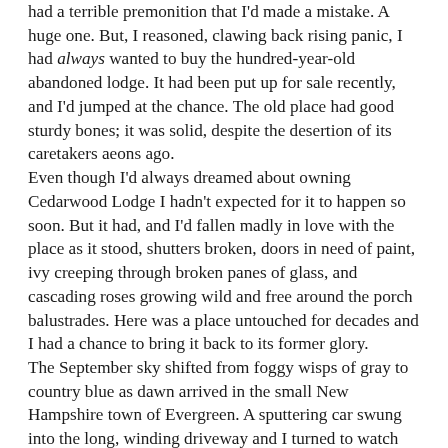had a terrible premonition that I'd made a mistake. A huge one. But, I reasoned, clawing back rising panic, I had always wanted to buy the hundred-year-old abandoned lodge. It had been put up for sale recently, and I'd jumped at the chance. The old place had good sturdy bones; it was solid, despite the desertion of its caretakers aeons ago.
Even though I'd always dreamed about owning Cedarwood Lodge I hadn't expected for it to happen so soon. But it had, and I'd fallen madly in love with the place as it stood, shutters broken, doors in need of paint, ivy creeping through broken panes of glass, and cascading roses growing wild and free around the porch balustrades. Here was a place untouched for decades and I had a chance to bring it back to its former glory.
The September sky shifted from foggy wisps of gray to country blue as dawn arrived in the small New Hampshire town of Evergreen. A sputtering car swung into the long, winding driveway and I turned to watch my oldest friend Micah leap from his battered hatchback.
We'd been best friends since childhood, and though we'd drifted apart as adults he was the first person I called when I bought Cedarwood Lodge – I offered him the job of maintenance manager which he'd accepted with a 'Hell yeah.'